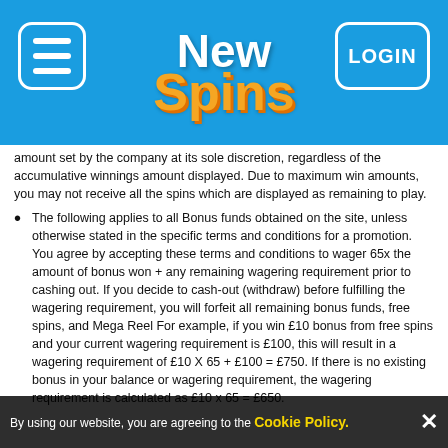[Figure (logo): New Spins casino logo with menu button and LOGIN button on blue header background]
amount set by the company at its sole discretion, regardless of the accumulative winnings amount displayed. Due to maximum win amounts, you may not receive all the spins which are displayed as remaining to play.
The following applies to all Bonus funds obtained on the site, unless otherwise stated in the specific terms and conditions for a promotion. You agree by accepting these terms and conditions to wager 65x the amount of bonus won + any remaining wagering requirement prior to cashing out. If you decide to cash-out (withdraw) before fulfilling the wagering requirement, you will forfeit all remaining bonus funds, free spins, and Mega Reel For example, if you win £10 bonus from free spins and your current wagering requirement is £100, this will result in a wagering requirement of £10 X 65 + £100 = £750. If there is no existing bonus in your balance or wagering requirement, the wagering requirement is calculated as £10 x 65 = £650.
Only bonus wagers contribute towards fulfilling the wagering requirement. Real money wagers do not contribute.
You can withdraw your real money balance (subject to withdrawal policy) but Bonus funds can never be withdrawn.
The maximum amount (for accounts that have made a deposit) which can be converted to your Real Money (withdrawable) balance as a result of fulfilling the bonus wagering requirement, is the value of your lifetime deposits on this website, up to a maximum of £250. the wagering requirement has been fulfilled and your total lifetime
By using our website, you are agreeing to the Cookie Policy.